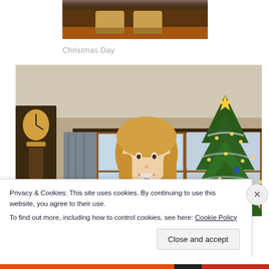[Figure (photo): Bottom portion of a photo showing someone's feet/shoes on a hardwood floor]
Christmas Day
[Figure (photo): A smiling blonde girl standing in front of a decorated Christmas tree with lights and tinsel, inside a living room with a grandfather clock on the left and windows in the background]
Privacy & Cookies: This site uses cookies. By continuing to use this website, you agree to their use.
To find out more, including how to control cookies, see here: Cookie Policy
Close and accept